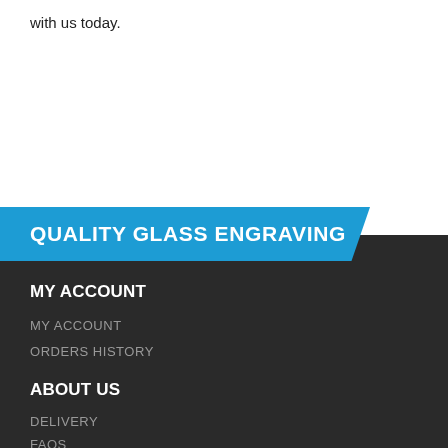with us today.
QUALITY GLASS ENGRAVING
MY ACCOUNT
MY ACCOUNT
ORDERS HISTORY
ABOUT US
DELIVERY
FAQS
ABOUT US